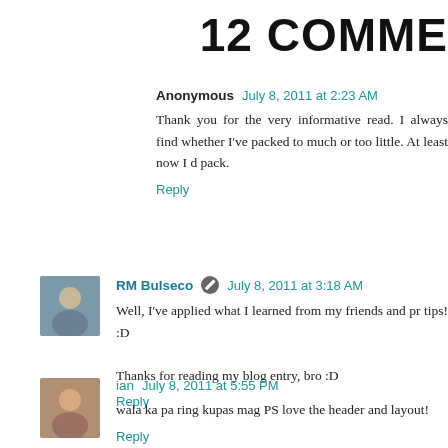12 COMME
Anonymous   July 8, 2011 at 2:23 AM
Thank you for the very informative read. I always find whether I've packed to much or too little. At least now I d pack.
Reply
RM Bulseco  July 8, 2011 at 3:18 AM
Well, I've applied what I learned from my friends and pr tips! :D

Thanks for reading my blog entry, bro :D
Reply
ian   July 8, 2011 at 5:55 PM
wala ka pa ring kupas mag PS love the header and layout!
Reply